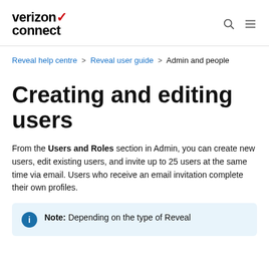verizon connect
Reveal help centre > Reveal user guide > Admin and people
Creating and editing users
From the Users and Roles section in Admin, you can create new users, edit existing users, and invite up to 25 users at the same time via email. Users who receive an email invitation complete their own profiles.
Note: Depending on the type of Reveal